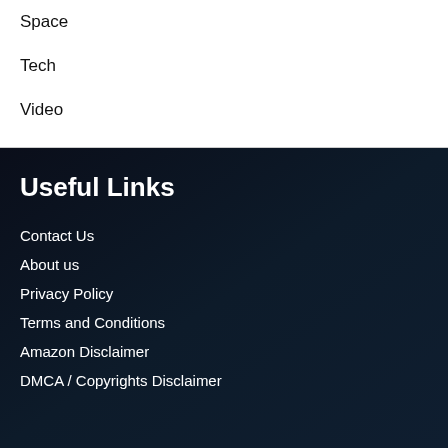Space
Tech
Video
Useful Links
Contact Us
About us
Privacy Policy
Terms and Conditions
Amazon Disclaimer
DMCA / Copyrights Disclaimer